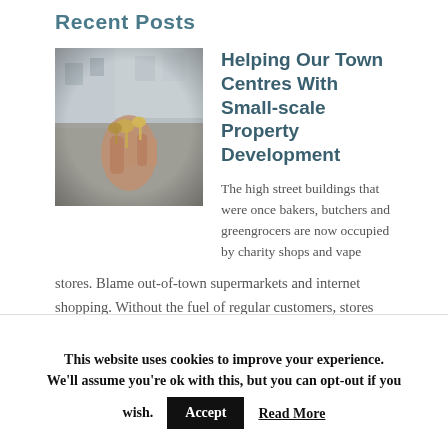Recent Posts
[Figure (photo): A hand holding keys, with blurred building in background]
Helping Our Town Centres With Small-scale Property Development
The high street buildings that were once bakers, butchers and greengrocers are now occupied by charity shops and vape stores. Blame out-of-town supermarkets and internet shopping. Without the fuel of regular customers, stores and businesses shut down. But this decline could be turned around – if we put our minds to solving a different crisis: […]
This website uses cookies to improve your experience. We'll assume you're ok with this, but you can opt-out if you wish.
Accept
Read More